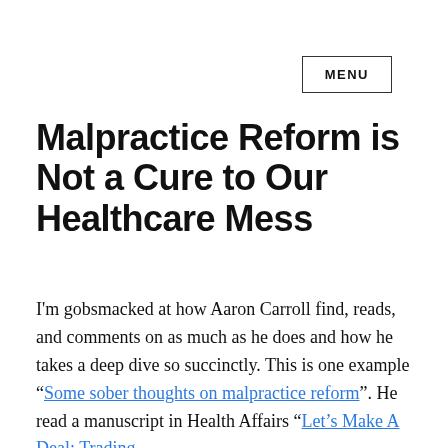MENU
Malpractice Reform is Not a Cure to Our Healthcare Mess
I'm gobsmacked at how Aaron Carroll find, reads, and comments on as much as he does and how he takes a deep dive so succinctly. This is one example “Some sober thoughts on malpractice reform”. He read a manuscript in Health Affairs “Let’s Make A Deal: Trading